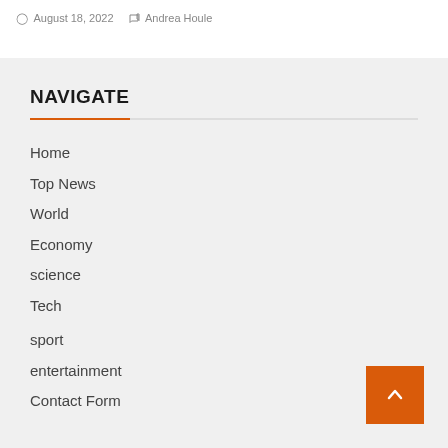August 18, 2022   Andrea Houle
NAVIGATE
Home
Top News
World
Economy
science
Tech
sport
entertainment
Contact Form